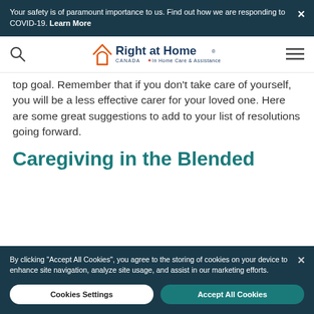Your safety is of paramount importance to us. Find out how we are responding to COVID-19. Learn More
[Figure (logo): Right at Home Canada - In Home Care & Assistance logo with house icon in orange and teal]
top goal. Remember that if you don't take care of yourself, you will be a less effective carer for your loved one. Here are some great suggestions to add to your list of resolutions going forward.
Caregiving in the Blended
By clicking "Accept All Cookies", you agree to the storing of cookies on your device to enhance site navigation, analyze site usage, and assist in our marketing efforts.